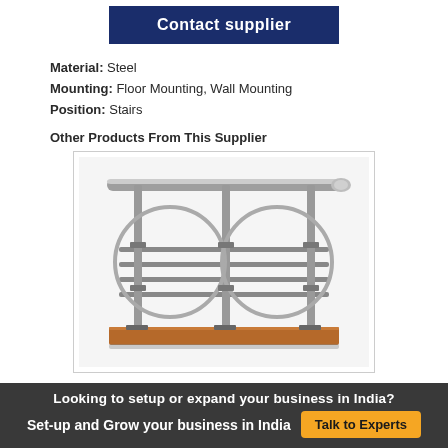Contact supplier
Material: Steel
Mounting: Floor Mounting, Wall Mounting
Position: Stairs
Other Products From This Supplier
[Figure (photo): A steel staircase railing/balustrade with decorative circular arc elements, horizontal bars, a tubular top rail, and a wooden base plate.]
Looking to setup or expand your business in India?
Set-up and Grow your business in India  Talk to Experts